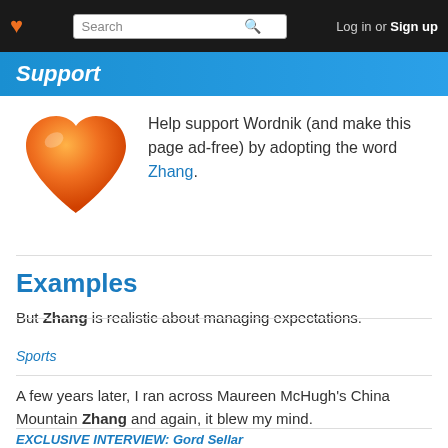Log in or Sign up
Support
Help support Wordnik (and make this page ad-free) by adopting the word Zhang.
Examples
But Zhang is realistic about managing expectations.
Sports
A few years later, I ran across Maureen McHugh's China Mountain Zhang and again, it blew my mind.
EXCLUSIVE INTERVIEW: Gord Sellar